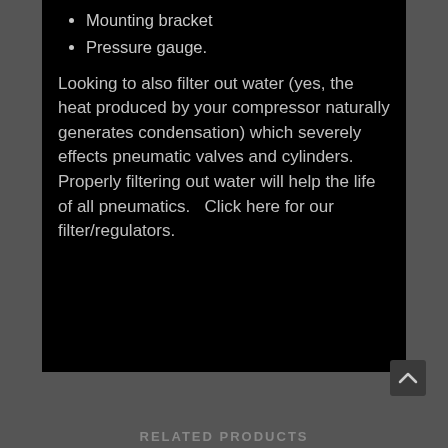Mounting bracket
Pressure gauge.
Looking to also filter out water (yes, the heat produced by your compressor naturally generates condensation) which severely effects pneumatic valves and cylinders.  Properly filtering out water will help the life of all pneumatics.   Click here for our filter/regulators.
RELATED PRODUCTS